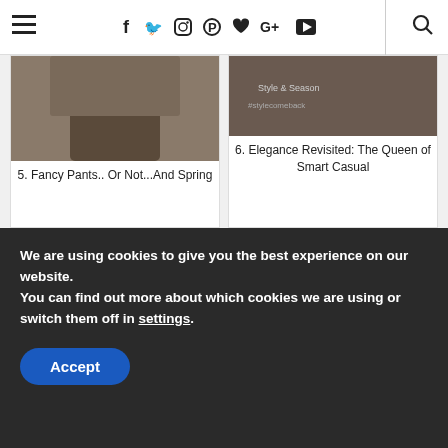Navigation bar with hamburger menu, social icons (Facebook, Twitter, Instagram, Pinterest, Heart, Google+, YouTube), and search icon
5. Fancy Pants.. Or Not...And Spring
6. Elegance Revisited: The Queen of Smart Casual
[Figure (photo): Portrait photo of a woman with brown hair and glasses wearing a black top with a necklace, smiling]
7. over50feeling40: Marie
[Figure (photo): Photo of a woman in a red lace dress standing in front of a brick wall, looking down]
8. Lace and leather
We are using cookies to give you the best experience on our website.
You can find out more about which cookies we are using or switch them off in settings.
Accept